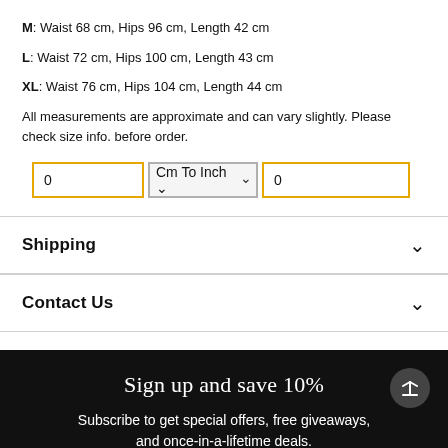M: Waist 68 cm, Hips 96 cm, Length 42 cm
L: Waist 72 cm, Hips 100 cm, Length 43 cm
XL: Waist 76 cm, Hips 104 cm, Length 44 cm
All measurements are approximate and can vary slightly. Please check size info. before order.
[Figure (screenshot): Unit converter UI with two input fields and a 'Cm To Inch' dropdown selector, all outlined in orange or grey borders.]
Shipping
Contact Us
Sign up and save 10%
Subscribe to get special offers, free giveaways, and once-in-a-lifetime deals.